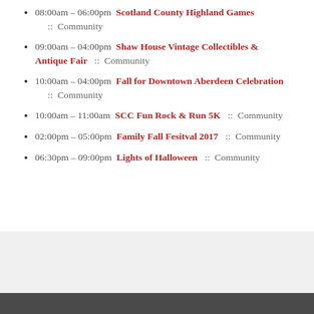08:00am – 06:00pm  Scotland County Highland Games  ::  Community
09:00am – 04:00pm  Shaw House Vintage Collectibles & Antique Fair  ::  Community
10:00am – 04:00pm  Fall for Downtown Aberdeen Celebration  ::  Community
10:00am – 11:00am  SCC Fun Rock & Run 5K  ::  Community
02:00pm – 05:00pm  Family Fall Fesitval 2017  ::  Community
06:30pm – 09:00pm  Lights of Halloween  ::  Community